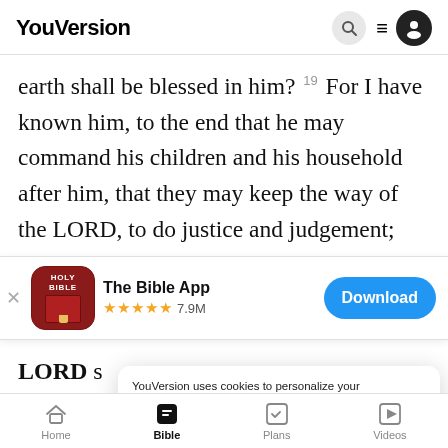YouVersion
earth shall be blessed in him? 19 For I have known him, to the end that he may command his children and his household after him, that they may keep the way of the LORD, to do justice and judgement;
[Figure (screenshot): App store banner for The Bible App with Holy Bible icon, 5 gold stars, 7.9M rating count, and a blue Download button]
LORD s
Gomorr
grievous: 21 I will go down now, and see whether
YouVersion uses cookies to personalize your experience. By using our website, you accept our use of cookies as described in our Privacy Policy.
Home  Bible  Plans  Videos